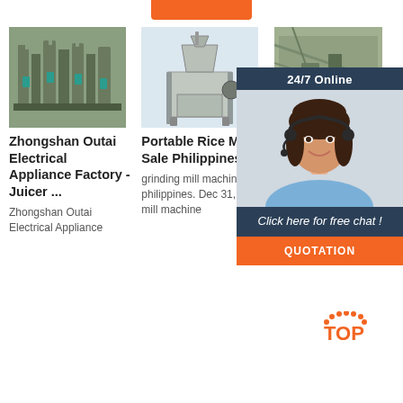[Figure (photo): Orange button/bar at top center of page]
[Figure (photo): Photo of industrial milling/grinding machines in a factory setting - Zhongshan Outai]
Zhongshan Outai Electrical Appliance Factory - Juicer ...
Zhongshan Outai Electrical Appliance
[Figure (photo): Photo of a portable rice mill machine on white background]
Portable Rice Mill Sale Philippines
grinding mill machine philippines. Dec 31, rice mill machine
[Figure (photo): Partial photo of industrial machinery/factory - third column]
G... Ji... L... M... Manufacturing Co.,Chengli-
Our factory specializes in producing
[Figure (photo): 24/7 Online chat widget with customer service agent wearing headset, Click here for free chat, QUOTATION button]
[Figure (logo): TOP badge/logo with orange dots pattern]